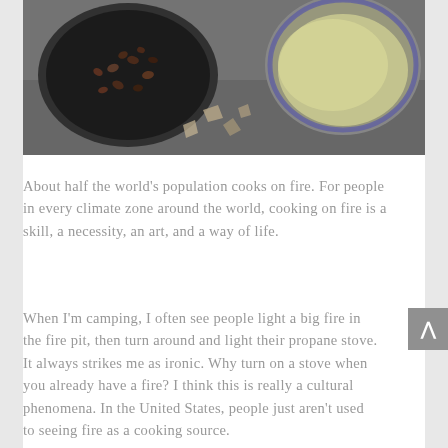[Figure (photo): Overhead view of cooking pots on a surface - a dark pan with beans/grains on the left and a metal pot with liquid on the right]
About half the world’s population cooks on fire. For people in every climate zone around the world, cooking on fire is a skill, a necessity, an art, and a way of life.
When I’m camping, I often see people light a big fire in the fire pit, then turn around and light their propane stove. It always strikes me as ironic. Why turn on a stove when you already have a fire? I think this is really a cultural phenomena. In the United States, people just aren’t used to seeing fire as a cooking source.